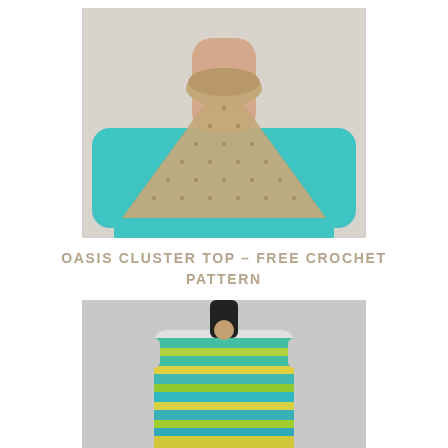[Figure (photo): A mannequin or person wearing a teal/turquoise long-sleeve top with a triangular crochet cowl/shawl in tan/beige color draped around the neck and shoulders.]
OASIS CLUSTER TOP – FREE CROCHET PATTERN
[Figure (photo): A dress form/mannequin displaying a crocheted top in multicolor stripes of teal, green, and yellow with a simple stitch pattern.]